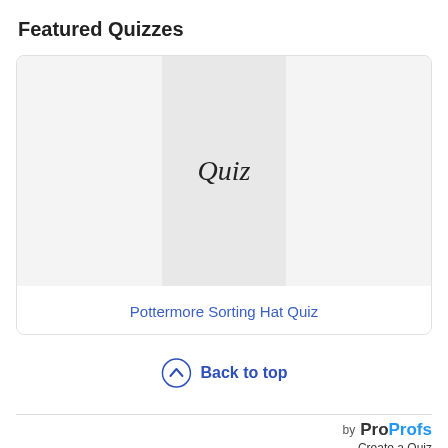Featured Quizzes
[Figure (illustration): Quiz card with a placeholder image showing the word 'Quiz' in italic script style on a light grey background, with a white/light area on either side.]
Pottermore Sorting Hat Quiz
Back to top
by ProProfs Create a Quiz